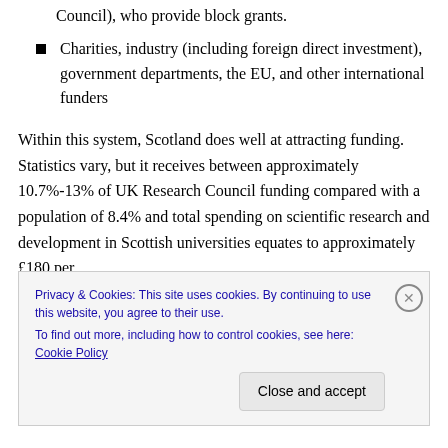Council), who provide block grants.
Charities, industry (including foreign direct investment), government departments, the EU, and other international funders
Within this system, Scotland does well at attracting funding. Statistics vary, but it receives between approximately 10.7%-13% of UK Research Council funding compared with a population of 8.4% and total spending on scientific research and development in Scottish universities equates to approximately £180 per
Privacy & Cookies: This site uses cookies. By continuing to use this website, you agree to their use.
To find out more, including how to control cookies, see here: Cookie Policy